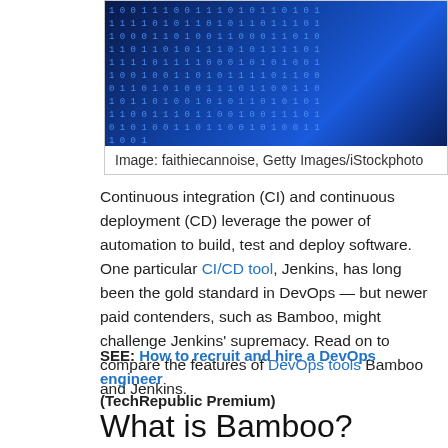[Figure (photo): Binary code on blue digital background — rows of 0s and 1s in blue/cyan on dark blue background]
Image: faithiecannoise, Getty Images/iStockphoto
Continuous integration (CI) and continuous deployment (CD) leverage the power of automation to build, test and deploy software. One particular CI/CD tool, Jenkins, has long been the gold standard in DevOps — but newer paid contenders, such as Bamboo, might challenge Jenkins' supremacy. Read on to compare the features of DevOps tools Bamboo and Jenkins.
SEE: How to recruit and hire a DevOps engineer (TechRepublic Premium)
What is Bamboo?
Bamboo is a continuous integration server offered by Atlassian. Bamboo allows you to automate the...